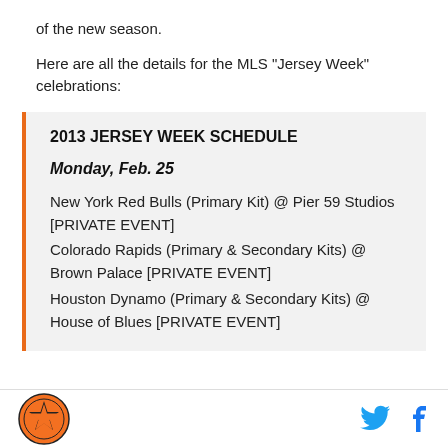of the new season.
Here are all the details for the MLS "Jersey Week" celebrations:
2013 JERSEY WEEK SCHEDULE
Monday, Feb. 25
New York Red Bulls (Primary Kit) @ Pier 59 Studios [PRIVATE EVENT]
Colorado Rapids (Primary & Secondary Kits) @ Brown Palace [PRIVATE EVENT]
Houston Dynamo (Primary & Secondary Kits) @ House of Blues [PRIVATE EVENT]